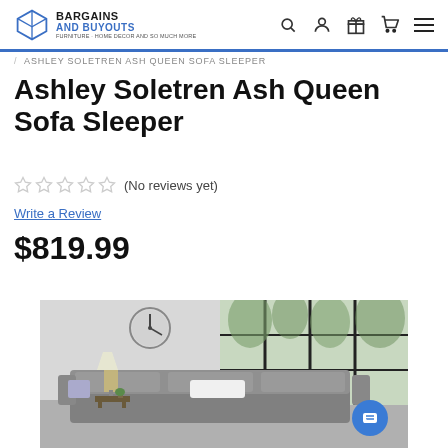Bargains and Buyouts
/ ASHLEY SOLETREN ASH QUEEN SOFA SLEEPER
Ashley Soletren Ash Queen Sofa Sleeper
(No reviews yet) Write a Review
$819.99
[Figure (photo): Room scene showing a grey sofa sleeper in a living room setting with large black-framed windows, a wall clock, and a table lamp]